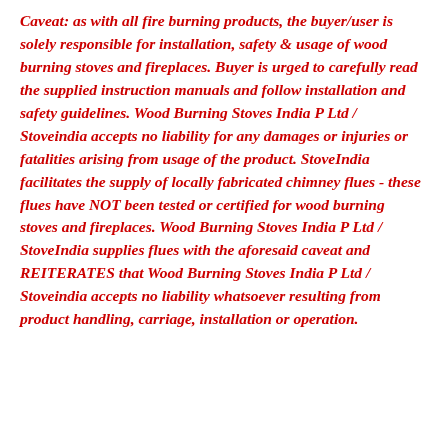Caveat: as with all fire burning products, the buyer/user is solely responsible for installation, safety & usage of wood burning stoves and fireplaces. Buyer is urged to carefully read the supplied instruction manuals and follow installation and safety guidelines. Wood Burning Stoves India P Ltd / Stoveindia accepts no liability for any damages or injuries or fatalities arising from usage of the product. StoveIndia facilitates the supply of locally fabricated chimney flues - these flues have NOT been tested or certified for wood burning stoves and fireplaces. Wood Burning Stoves India P Ltd / StoveIndia supplies flues with the aforesaid caveat and REITERATES that Wood Burning Stoves India P Ltd / Stoveindia accepts no liability whatsoever resulting from product handling, carriage, installation or operation.